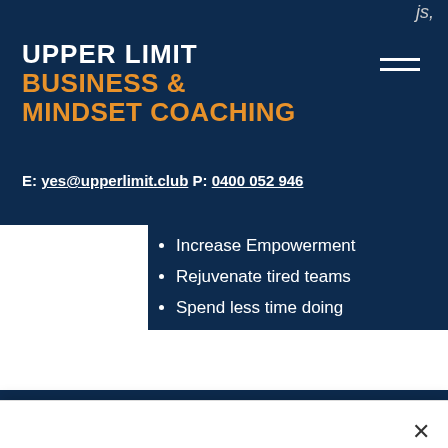js,
UPPER LIMIT
BUSINESS &
MINDSET COACHING
E: yes@upperlimit.club P: 0400 052 946
Increase Empowerment
Rejuvenate tired teams
Spend less time doing
The best players don't always make the best coaches - get the help that you need to get your team firing
We use cookies and similar technologies to enable services and functionality on our site and to understand your interaction with our service. By clicking on accept, you agree to our use of such technologies for marketing and analytics. See Privacy Policy